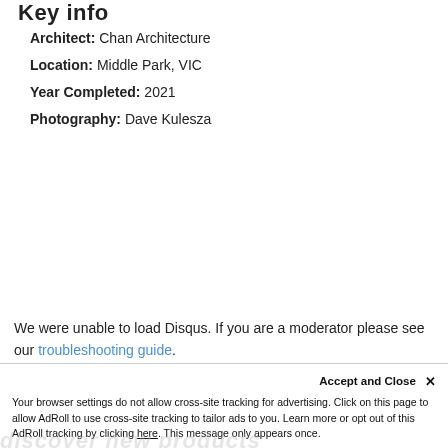Key info
Architect: Chan Architecture
Location: Middle Park, VIC
Year Completed: 2021
Photography: Dave Kulesza
[Figure (advertisement): Gyprock advertisement banner: 'Acoustic performance with design freedom' with CSR logo on dark background]
We were unable to load Disqus. If you are a moderator please see our troubleshooting guide.
Accept and Close ×
Your browser settings do not allow cross-site tracking for advertising. Click on this page to allow AdRoll to use cross-site tracking to tailor ads to you. Learn more or opt out of this AdRoll tracking by clicking here. This message only appears once.